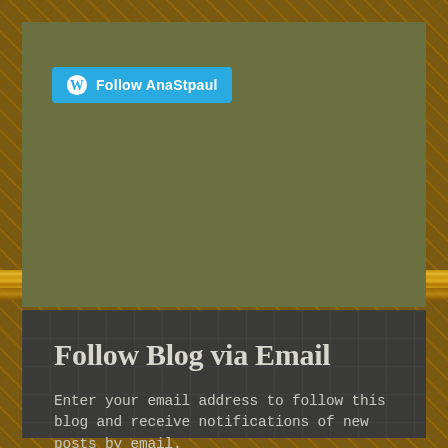[Figure (screenshot): WordPress Follow AnaStpaul button on olive green background]
Follow Blog via Email
Enter your email address to follow this blog and receive notifications of new posts by email.
Enter your email address
FOLLOW